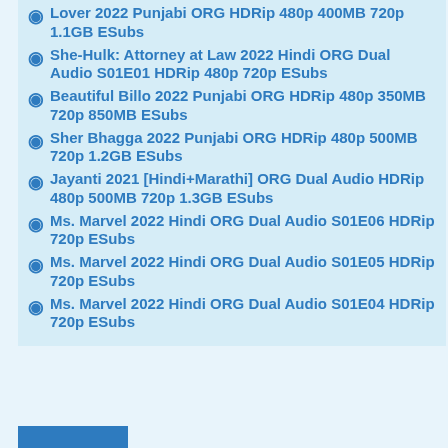Lover 2022 Punjabi ORG HDRip 480p 400MB 720p 1.1GB ESubs
She-Hulk: Attorney at Law 2022 Hindi ORG Dual Audio S01E01 HDRip 480p 720p ESubs
Beautiful Billo 2022 Punjabi ORG HDRip 480p 350MB 720p 850MB ESubs
Sher Bhagga 2022 Punjabi ORG HDRip 480p 500MB 720p 1.2GB ESubs
Jayanti 2021 [Hindi+Marathi] ORG Dual Audio HDRip 480p 500MB 720p 1.3GB ESubs
Ms. Marvel 2022 Hindi ORG Dual Audio S01E06 HDRip 720p ESubs
Ms. Marvel 2022 Hindi ORG Dual Audio S01E05 HDRip 720p ESubs
Ms. Marvel 2022 Hindi ORG Dual Audio S01E04 HDRip 720p ESubs